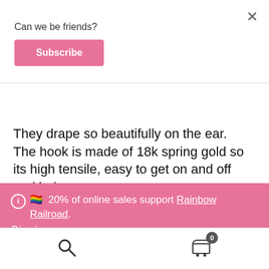Can we be friends?
Subscribe
They drape so beautifully on the ear.  The hook is made of 18k spring gold so its high tensile, easy to get on and off and helps
ⓘ  🏳️‍🌈  20% of online sales support Rainbow Railroad.
Dismiss